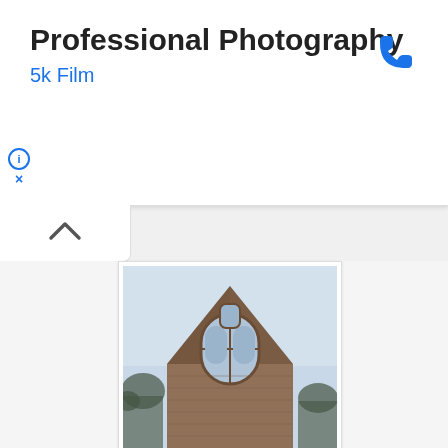Professional Photography
5k Film
[Figure (photo): Phone/call icon in blue]
ⓘ
×
[Figure (photo): Upward chevron arrow in a white tab panel]
[Figure (photo): Photograph of a brick church building with pointed gable roof and arched windows, bare trees visible, pale blue sky background]